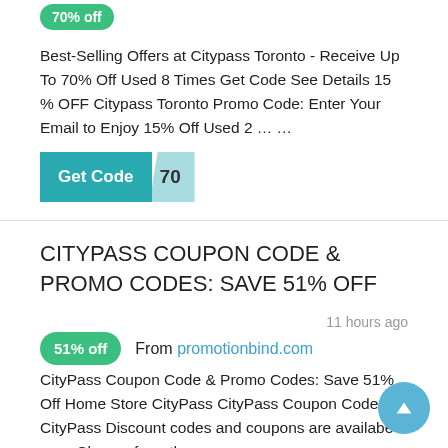[Figure (other): Green badge showing '70% off' discount label]
Best-Selling Offers at Citypass Toronto - Receive Up To 70% Off Used 8 Times Get Code See Details 15 % OFF Citypass Toronto Promo Code: Enter Your Email to Enjoy 15% Off Used 2 … …
[Figure (other): Teal 'Get Code' button with revealed code '70']
CITYPASS COUPON CODE & PROMO CODES: SAVE 51% OFF
11 hours ago
[Figure (other): Green badge showing '51% off']
From promotionbind.com
CityPass Coupon Code & Promo Codes: Save 51% Off Home Store CityPass CityPass Coupon Codes CityPass Discount codes and coupons are availabe now. Choose from those promo … …
Category: discount code